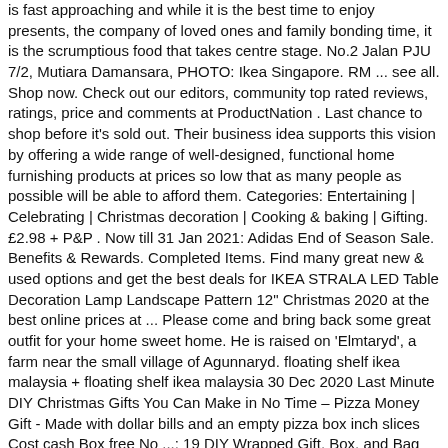is fast approaching and while it is the best time to enjoy presents, the company of loved ones and family bonding time, it is the scrumptious food that takes centre stage. No.2 Jalan PJU 7/2, Mutiara Damansara, PHOTO: Ikea Singapore. RM ... see all. Shop now. Check out our editors, community top rated reviews, ratings, price and comments at ProductNation . Last chance to shop before it's sold out. Their business idea supports this vision by offering a wide range of well-designed, functional home furnishing products at prices so low that as many people as possible will be able to afford them. Categories: Entertaining | Celebrating | Christmas decoration | Cooking & baking | Gifting. £2.98 + P&P . Now till 31 Jan 2021: Adidas End of Season Sale. Benefits & Rewards. Completed Items. Find many great new & used options and get the best deals for IKEA STRALA LED Table Decoration Lamp Landscape Pattern 12" Christmas 2020 at the best online prices at ... Please come and bring back some great outfit for your home sweet home. He is raised on 'Elmtaryd', a farm near the small village of Agunnaryd. floating shelf ikea malaysia + floating shelf ikea malaysia 30 Dec 2020 Last Minute DIY Christmas Gifts You Can Make in No Time – Pizza Money Gift - Made with dollar bills and an empty pizza box inch slices Cost cash Box free No ...; 19 DIY Wrapped Gift, Box, and Bag Tutorials.} in 1940s-1950s ,the roots of a furniture dealer. Hai ikea today i go ikea cheras 24/12/2020 to find this product stated there in stock at cheras but when i go there no stock was available when i ask the staff there he said only 10 stock available per day for walk in cust he said come back tomorrow coz